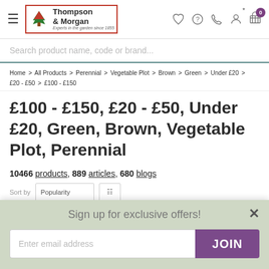[Figure (logo): Thompson & Morgan logo with red border, tree icon, brand name and tagline 'Experts in the garden since 1855']
Search product name, code or brand...
Home > All Products > Perennial > Vegetable Plot > Brown > Green > Under £20 > £20 - £50 > £100 - £150
£100 - £150, £20 - £50, Under £20, Green, Brown, Vegetable Plot, Perennial
10466 products, 889 articles, 680 blogs
Sign up for exclusive offers!
Enter email address
JOIN